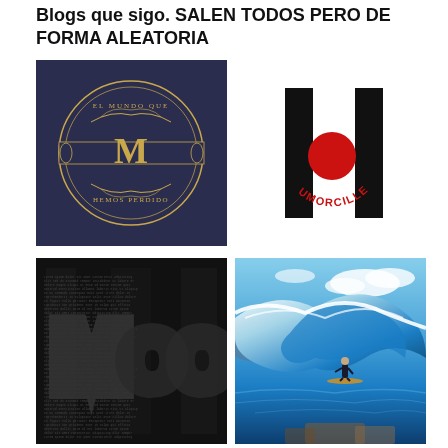Blogs que sigo. SALEN TODOS PERO DE FORMA ALEATORIA
[Figure (logo): Dark navy blue square with ornate golden emblem featuring the letter M in the center, surrounded by decorative scrollwork and text reading 'EL MUNDO QUE HEMOS PERDIDO']
[Figure (logo): Black letter H logo with a red circle in the center gap, with 'UMORCILLET' written in red arc text below the circle]
[Figure (photo): Dark typographic art on black background showing letters made of dense text characters]
[Figure (photo): Photograph of a surfer riding inside a large barrel wave with blue ocean and sky]